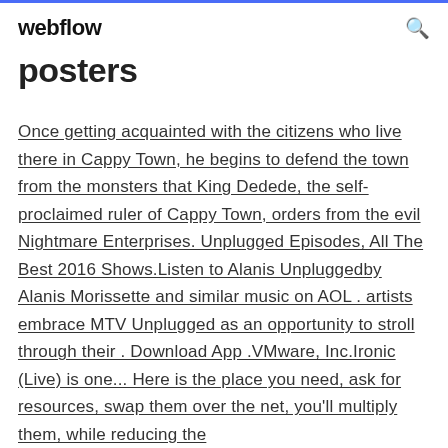webflow
posters
Once getting acquainted with the citizens who live there in Cappy Town, he begins to defend the town from the monsters that King Dedede, the self-proclaimed ruler of Cappy Town, orders from the evil Nightmare Enterprises. Unplugged Episodes, All The Best 2016 Shows.Listen to Alanis Unpluggedby Alanis Morissette and similar music on AOL . artists embrace MTV Unplugged as an opportunity to stroll through their . Download App .VMware, Inc.Ironic (Live) is one... Here is the place you need, ask for resources, swap them over the net, you'll multiply them, while reducing the ...